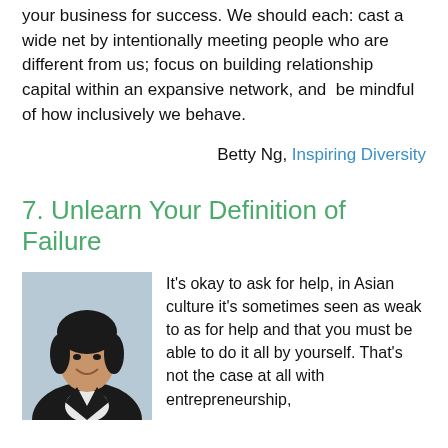your business for success. We should each: cast a wide net by intentionally meeting people who are different from us; focus on building relationship capital within an expansive network, and be mindful of how inclusively we behave.
Betty Ng, Inspiring Diversity
7. Unlearn Your Definition of Failure
[Figure (photo): Headshot of a person with dark medium-length hair, smiling, wearing a dark jacket over a white shirt, against a light blue-grey background.]
It's okay to ask for help, in Asian culture it's sometimes seen as weak to as for help and that you must be able to do it all by yourself. That's not the case at all with entrepreneurship,